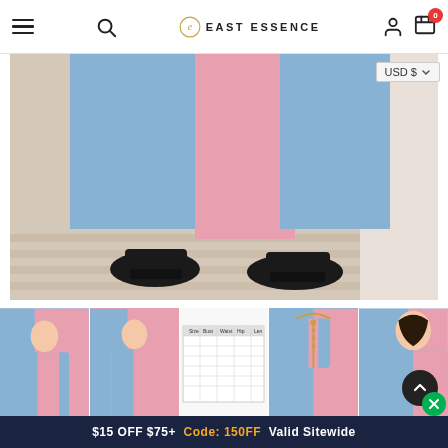East Essence — navigation header with hamburger menu, search, logo, user icon, cart (0), and USD $ currency selector
[Figure (photo): Close-up of the lower portion of a blue and pink two-tone maxi dress with black platform heels on a wooden deck floor background]
[Figure (photo): Thumbnail 1: Full-length view of model wearing blue and pink two-tone abaya dress]
[Figure (photo): Thumbnail 2: Model wearing the pink and blue color-block maxi dress]
[Figure (table-as-image): Size chart table image for the dress]
[Figure (photo): Thumbnail 4: Close-up of neckline with gold zipper detail on blue and pink fabric]
[Figure (photo): Thumbnail 5: Partial view of model wearing the blue and pink dress]
$15 OFF $75+  Code: 150FF  Valid Sitewide